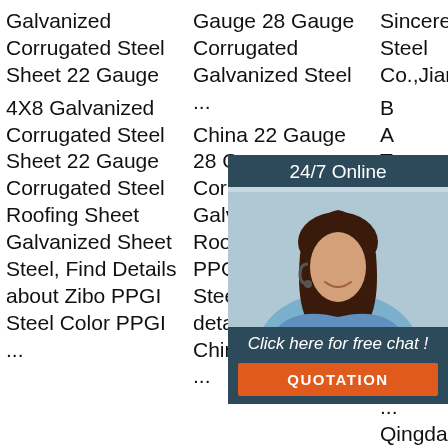Galvanized Corrugated Steel Sheet 22 Gauge
4X8 Galvanized Corrugated Steel Sheet 22 Gauge Corrugated Steel Roofing Sheet Galvanized Sheet Steel, Find Details about Zibo PPGI Steel Color PPGI ...
Gauge 28 Gauge Corrugated Galvanized Steel ...
China 22 Gauge 28 Gauge Corrugated Galvanized Steel Roofing Sheet PPGI Gi Color Steel Sheet, Find details about China Galvanized ...
Sincerely Steel Co.,Jiangyin B... A... T... C... B... A... T... C... S...
[Figure (photo): Customer support woman with headset, smiling, part of a 24/7 online chat widget with dark teal background, click-here-for-free-chat CTA and orange QUOTATION button]
Steel Sheet ...
Qingdao Sincerely Steel Co., ...